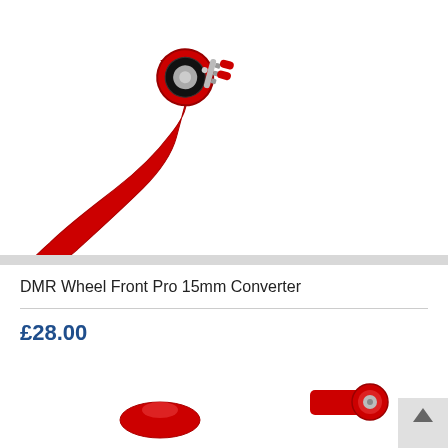[Figure (photo): Red DMR quick-release lever/skewer component for front wheel, angled view on white background]
DMR Wheel Front Pro 15mm Converter
£28.00
[Figure (photo): Red DMR axle/thru-axle components partially visible at bottom of page on white background]